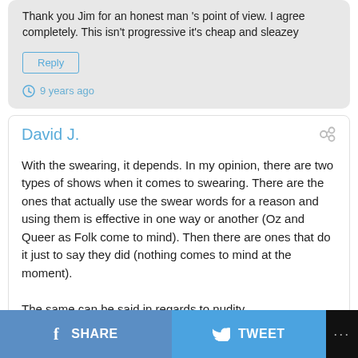Thank you Jim for an honest man 's point of view. I agree completely. This isn't progressive it's cheap and sleazey
Reply
9 years ago
David J.
With the swearing, it depends. In my opinion, there are two types of shows when it comes to swearing. There are the ones that actually use the swear words for a reason and using them is effective in one way or another (Oz and Queer as Folk come to mind). Then there are ones that do it just to say they did (nothing comes to mind at the moment).

The same can be said in regards to nudity.
Reply
SHARE   TWEET   ...